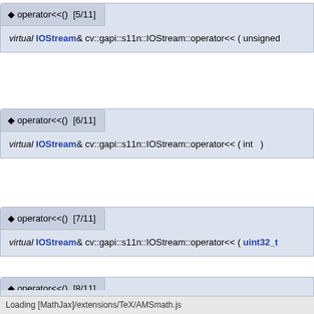operator<<() [5/11]
virtual IOStream& cv::gapi::s11n::IOStream::operator<< ( unsigned
operator<<() [6/11]
virtual IOStream& cv::gapi::s11n::IOStream::operator<< ( int  )
operator<<() [7/11]
virtual IOStream& cv::gapi::s11n::IOStream::operator<< ( uint32_t
operator<<() [8/11]
virtual IOStream& cv::gapi::s11n::IOStream::operator<< ( uint64_t
Loading [MathJax]/extensions/TeX/AMSmath.js